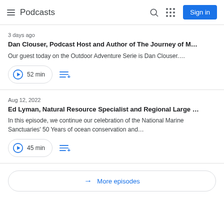Podcasts
3 days ago
Dan Clouser, Podcast Host and Author of The Journey of M…
Our guest today on the Outdoor Adventure Serie is Dan Clouser….
52 min
Aug 12, 2022
Ed Lyman, Natural Resource Specialist and Regional Large …
In this episode, we continue our celebration of the National Marine Sanctuaries' 50 Years of ocean conservation and…
45 min
More episodes